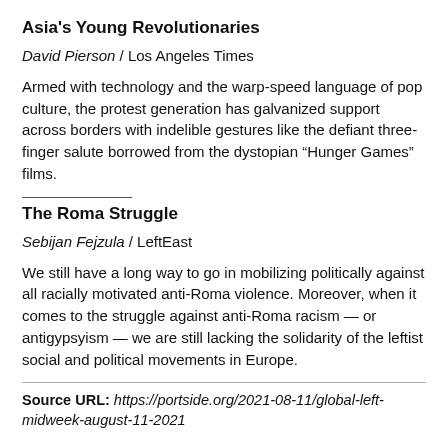Asia's Young Revolutionaries
David Pierson / Los Angeles Times
Armed with technology and the warp-speed language of pop culture, the protest generation has galvanized support across borders with indelible gestures like the defiant three-finger salute borrowed from the dystopian “Hunger Games” films.
The Roma Struggle
Sebijan Fejzula / LeftEast
We still have a long way to go in mobilizing politically against all racially motivated anti-Roma violence. Moreover, when it comes to the struggle against anti-Roma racism — or antigypsyism — we are still lacking the solidarity of the leftist social and political movements in Europe.
Source URL: https://portside.org/2021-08-11/global-left-midweek-august-11-2021